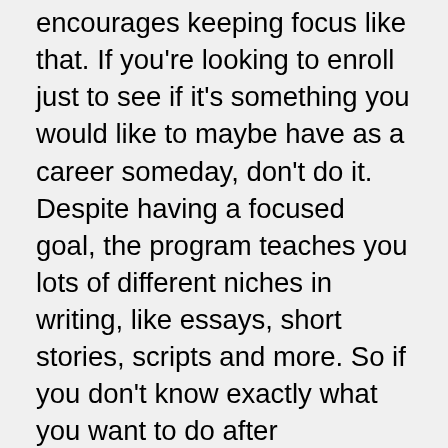encourages keeping focus like that. If you're looking to enroll just to see if it's something you would like to maybe have as a career someday, don't do it. Despite having a focused goal, the program teaches you lots of different niches in writing, like essays, short stories, scripts and more. So if you don't know exactly what you want to do after graduation, but you definitely know you want to write, this program is great because it sort of covers all the bases. It's not like a conveyor belt where you go through college to work one type of job for the rest of your life. So in conclusion, if you are dedicated to your passion of writing (I don't have any